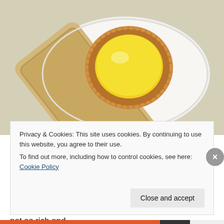[Figure (photo): Overhead photo of a Hong Kong egg tart (yellow custard in a pastry shell) on a white plate, with a gold smartphone partially visible beneath it. Light background.]
Leung Sang – Bugis
Leung Sang is another of the Hong Kong Bakery stores that have opened a branch here. Egg Tarts - both pastry and cookie bases - are here. The filling is not as rich and
Privacy & Cookies: This site uses cookies. By continuing to use this website, you agree to their use.
To find out more, including how to control cookies, see here: Cookie Policy
Close and accept